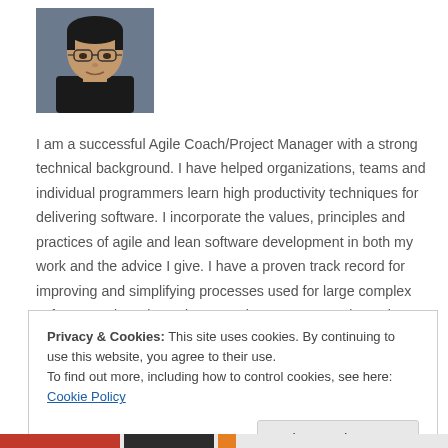[Figure (photo): Headshot photo of a man with glasses wearing a black shirt, cropped portrait.]
I am a successful Agile Coach/Project Manager with a strong technical background. I have helped organizations, teams and individual programmers learn high productivity techniques for delivering software. I incorporate the values, principles and practices of agile and lean software development in both my work and the advice I give. I have a proven track record for improving and simplifying processes used for large complex software projects by acting as a change agent and creating high performing teams.
Privacy & Cookies: This site uses cookies. By continuing to use this website, you agree to their use.
To find out more, including how to control cookies, see here: Cookie Policy
Close and accept